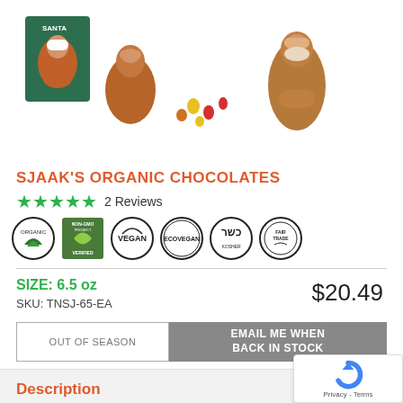[Figure (photo): Product photo showing chocolate Santa figurines with gummy bears alongside product box labeled SANTA]
SJAAK'S ORGANIC CHOCOLATES
★★★★★  2 Reviews
[Figure (infographic): Six certification badges: Organic, Non-GMO Project Verified, Vegan, Ecovegan, Kosher, Fair Trade]
SIZE: 6.5 oz
SKU: TNSJ-65-EA
$20.49
OUT OF SEASON
EMAIL ME WHEN BACK IN STOCK
Description
Sjaak's vegan chocolate santa filled with gum bears is a favorite during the holiday season. This